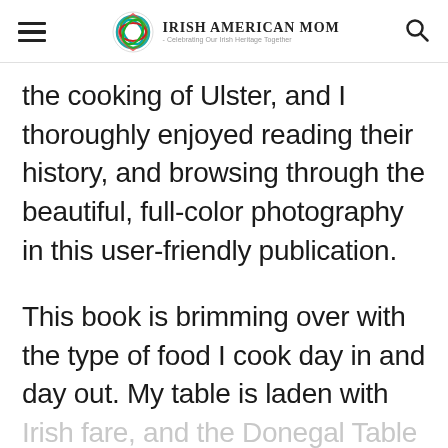Irish American Mom - Celebrating Our Irish Heritage Together
the cooking of Ulster, and I thoroughly enjoyed reading their history, and browsing through the beautiful, full-color photography in this user-friendly publication.
This book is brimming over with the type of food I cook day in and day out. My table is laden with
Irish fare, and the Donegal Table